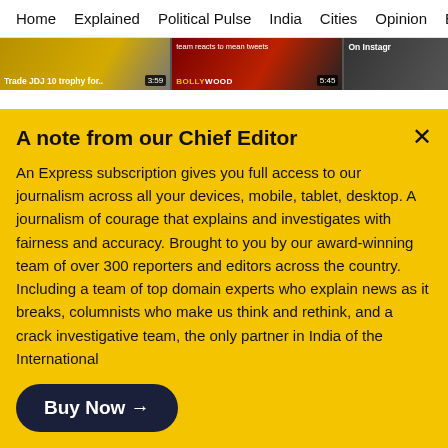Home  Explained  Political Pulse  India  Cities  Opinion  Entertainmer
[Figure (screenshot): Video thumbnail strip showing three video previews: 'Trade JDJ 10 trophy for..' with timestamp 3:59, a Bollywood/Netflix video with timestamp 5:45, and 'On Instagr' partial label.]
Delhi Government also offered a promotion to Sakshi Malik's father who works in the Delhi Transport Corporation.
Meanwhile, students of faculty of St Ann's College
A note from our Chief Editor
An Express subscription gives you full access to our journalism across all your devices, mobile, tablet, desktop. A journalism of courage that explains and investigates with fairness and accuracy. Brought to you by our award-winning team of over 300 reporters and editors across the country. Including a team of top domain experts who explain news as it breaks, columnists who make us think and rethink, and a crack investigative team, the only partner in India of the International
Buy Now →